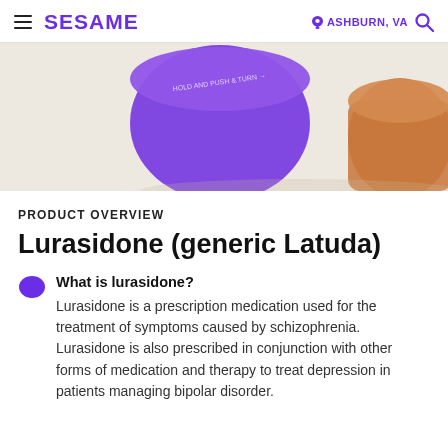SESAME | ASHBURN, VA
[Figure (photo): Product photo showing a purple pill bottle cap and an amber/orange pill bottle on a beige/cream background]
PRODUCT OVERVIEW
Lurasidone (generic Latuda)
What is lurasidone?
Lurasidone is a prescription medication used for the treatment of symptoms caused by schizophrenia. Lurasidone is also prescribed in conjunction with other forms of medication and therapy to treat depression in patients managing bipolar disorder.